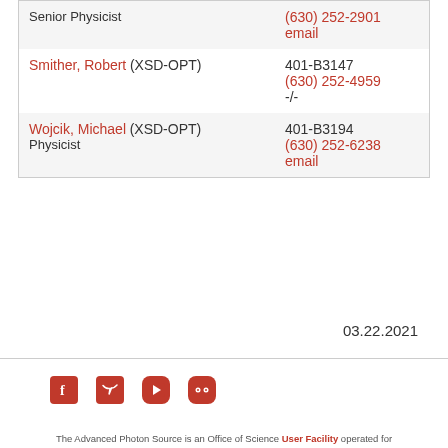| Name / Title | Contact |
| --- | --- |
| Senior Physicist | (630) 252-2901
email |
| Smither, Robert (XSD-OPT) | 401-B3147
(630) 252-4959
-/- |
| Wojcik, Michael (XSD-OPT)
Physicist | 401-B3194
(630) 252-6238
email |
03.22.2021
[Figure (logo): Social media icons: Facebook, Twitter, YouTube, Flickr]
[Figure (logo): U.S. Department of Energy Office of Science logo with seal]
The Advanced Photon Source is an Office of Science User Facility operated for